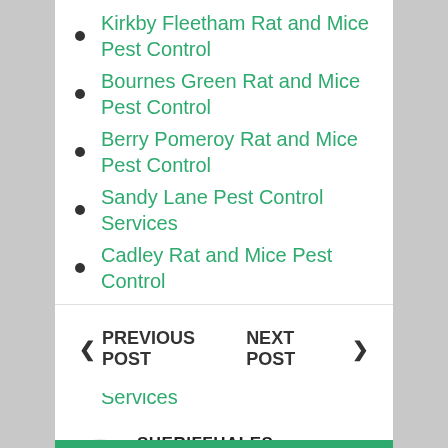Kirkby Fleetham Rat and Mice Pest Control
Bournes Green Rat and Mice Pest Control
Berry Pomeroy Rat and Mice Pest Control
Sandy Lane Pest Control Services
Cadley Rat and Mice Pest Control
Gedgrave Hall Pest Control Services
Istead Rise Pest Control Services
SHERIFFHALES COMMERCIAL PEST CONTROL, TOWN BED BUG REMOVAL, TOWN FREE PEST CONTROL, TOWN MICE REMOVAL, TOWN PEST CONTROL, TOWN RAT PROBLEMS, TOWN WASP REMOVAL
PREVIOUS POST    NEXT POST